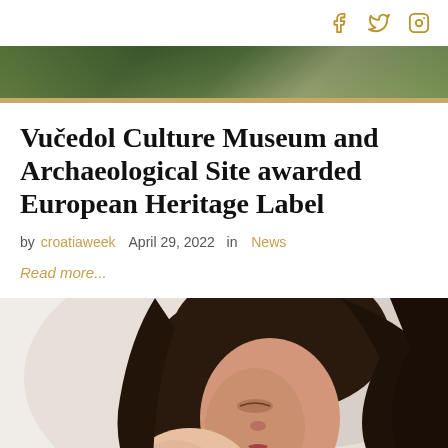social icons: facebook, twitter, instagram
[Figure (photo): Banner image showing outdoor/nature scene with greenery]
Vučedol Culture Museum and Archaeological Site awarded European Heritage Label
by croatiaweek  April 29, 2022  in  News
Read more...
[Figure (photo): Woman with long dark hair holding and kissing a baby, close-up portrait]